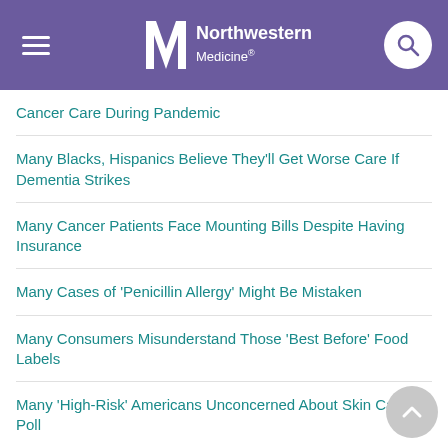Northwestern Medicine
Cancer Care During Pandemic
Many Blacks, Hispanics Believe They'll Get Worse Care If Dementia Strikes
Many Cancer Patients Face Mounting Bills Despite Having Insurance
Many Cases of 'Penicillin Allergy' Might Be Mistaken
Many Consumers Misunderstand Those 'Best Before' Food Labels
Many 'High-Risk' Americans Unconcerned About Skin Cancer: Poll
Many Home Health Care Workers in Poor Health Themselves